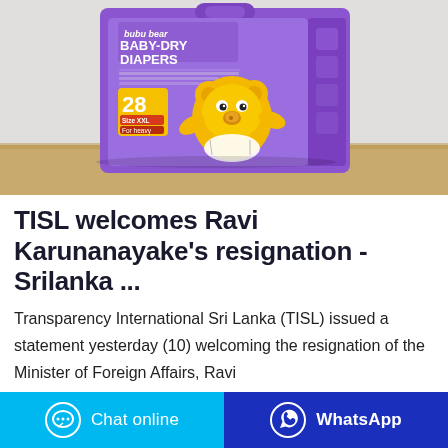[Figure (photo): Product photo of 'bubu bear BABY-DRY DIAPERS' package (purple/white box showing count of 28, with cartoon bear character) placed on a wooden surface against a light fabric background.]
TISL welcomes Ravi Karunanayake's resignation - Srilanka ...
Transparency International Sri Lanka (TISL) issued a statement yesterday (10) welcoming the resignation of the Minister of Foreign Affairs, Ravi